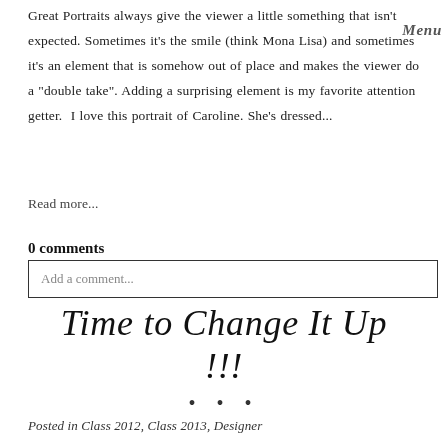Great Portraits always give the viewer a little something that isn't expected. Sometimes it's the smile (think Mona Lisa) and sometimes it's an element that is somehow out of place and makes the viewer do a "double take". Adding a surprising element is my favorite attention getter. I love this portrait of Caroline. She's dressed...
Read more...
0 comments
Add a comment...
Time to Change It Up !!!
• • •
Posted in Class 2012, Class 2013, Designer